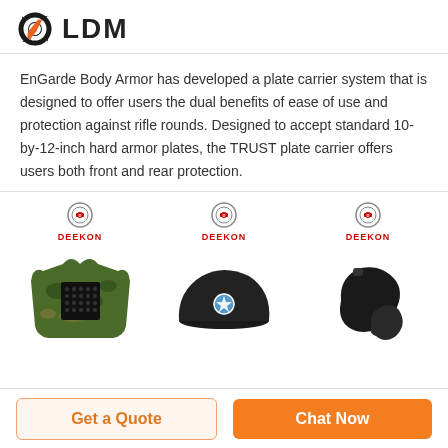[Figure (logo): LDM logo with gear icon in black and orange, bold LDM text]
EnGarde Body Armor has developed a plate carrier system that is designed to offer users the dual benefits of ease of use and protection against rifle rounds. Designed to accept standard 10-by-12-inch hard armor plates, the TRUST plate carrier offers users both front and rear protection.
[Figure (photo): Three product images each with DEEKON badge: left - camouflage plate carrier vest, center - black military beret with badge, right - black shoulder/elbow armor pads]
Get a Quote
Chat Now